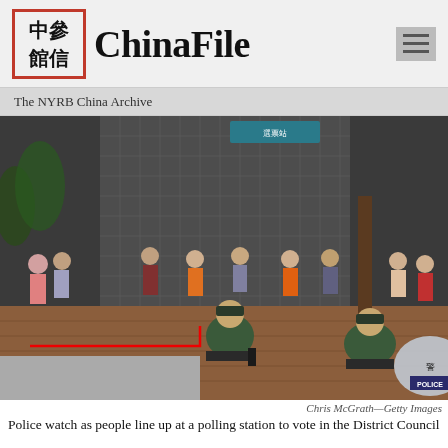ChinaFile — The NYRB China Archive
[Figure (photo): Police in green riot gear watch as a long line of people queue along a sidewalk next to a tiled building to vote at a polling station. Two officers in foreground face away from camera, one holding a riot shield marked POLICE.]
Chris McGrath—Getty Images
Police watch as people line up at a polling station to vote in the District Council